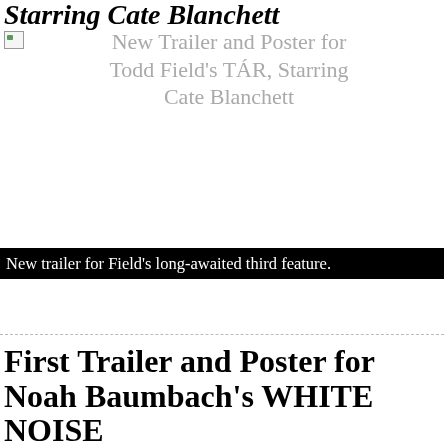Starring Cate Blanchett
[Figure (other): Broken image placeholder for New Trailer and Poster for Todd Field's TÁR, Starring Cate Blanchett]
New trailer for Field's long-awaited third feature.
First Trailer and Poster for Noah Baumbach's WHITE NOISE
[Figure (other): Broken image placeholder for First Trailer and Poster for Noah Baumbach's WHITE NOISE]
First look at Baumbach's Don DeLillo adaptation.